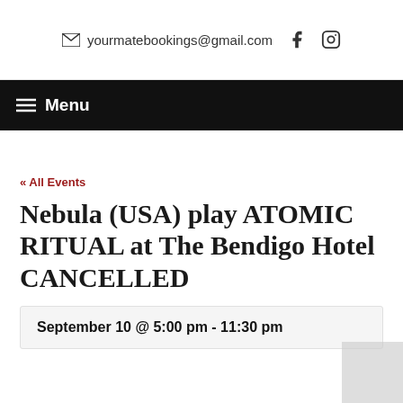yourmatebookings@gmail.com
≡ Menu
« All Events
Nebula (USA) play ATOMIC RITUAL at The Bendigo Hotel CANCELLED
September 10 @ 5:00 pm - 11:30 pm